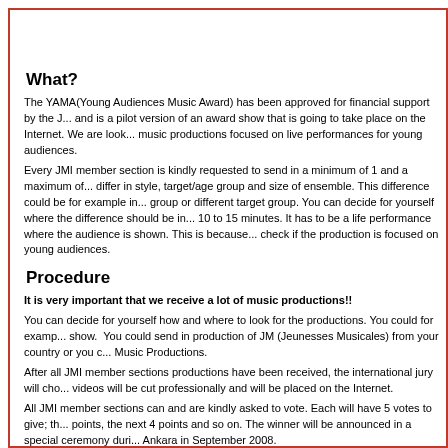What?
The YAMA(Young Audiences Music Award) has been approved for financial support by the J... and is a pilot version of an award show that is going to take place on the Internet. We are look... music productions focused on live performances for young audiences.
Every JMI member section is kindly requested to send in a minimum of 1 and a maximum of... differ in style, target/age group and size of ensemble. This difference could be for example in... group or different target group. You can decide for yourself where the difference should be in... 10 to 15 minutes. It has to be a life performance where the audience is shown. This is because... check if the production is focused on young audiences.
Procedure
It is very important that we receive a lot of music productions!!
You can decide for yourself how and where to look for the productions. You could for examp... show.  You could send in production of JM (Jeunesses Musicales) from your country or you c... Music Productions.
After all JMI member sections productions have been received, the international jury will cho... videos will be cut professionally and will be placed on the Internet.
All JMI member sections can and are kindly asked to vote. Each will have 5 votes to give; th... points, the next 4 points and so on. The winner will be announced in a special ceremony duri... Ankara in September 2008.
The 5 nominees will receive media attention. They will be the YAMA Ambassadors and used...